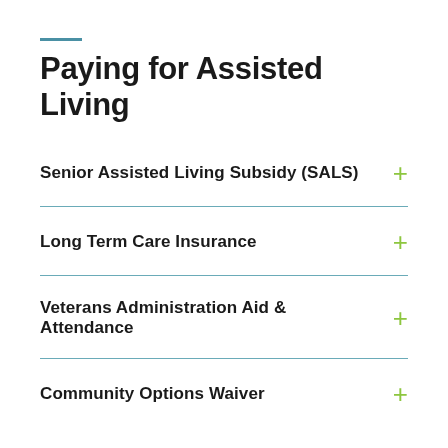Paying for Assisted Living
Senior Assisted Living Subsidy (SALS)
Long Term Care Insurance
Veterans Administration Aid & Attendance
Community Options Waiver